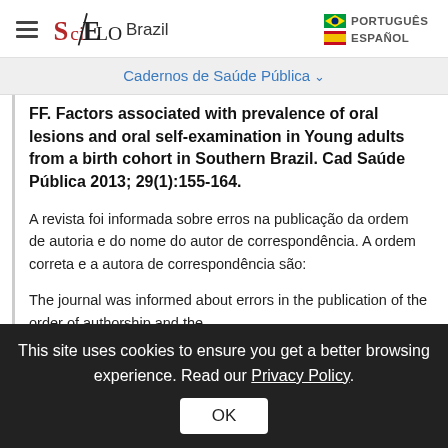SciELO Brazil | PORTUGUÊS | ESPAÑOL
Cadernos de Saúde Pública
FF. Factors associated with prevalence of oral lesions and oral self-examination in Young adults from a birth cohort in Southern Brazil. Cad Saúde Pública 2013; 29(1):155-164.
A revista foi informada sobre erros na publicação da ordem de autoria e do nome do autor de correspondência. A ordem correta e a autora de correspondência são:
The journal was informed about errors in the publication of the order of authorship and the
This site uses cookies to ensure you get a better browsing experience. Read our Privacy Policy.